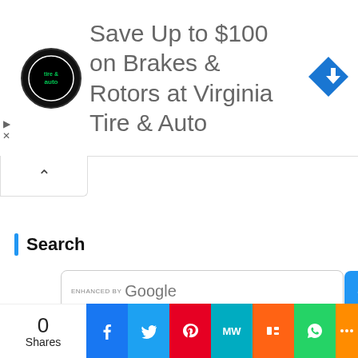[Figure (screenshot): Advertisement banner for Virginia Tire & Auto showing logo, text 'Save Up to $100 on Brakes & Rotors at Virginia Tire & Auto', and a blue diamond navigation arrow icon. Small play and X icons on left. Collapse chevron tab below.]
Search
[Figure (screenshot): Google search box labeled 'ENHANCED BY Google' with a blue search button on the right]
[Figure (screenshot): Social share bar at bottom showing share count 0, Facebook, Twitter, Pinterest, MixedWrench (MW), Mix, WhatsApp, and generic share icons]